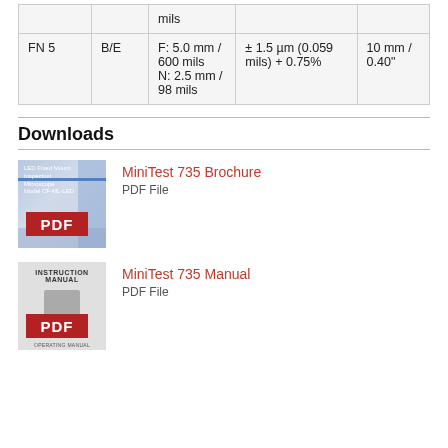|  |  | Measurement Range | Accuracy | Max. Substrate Thickness |
| --- | --- | --- | --- | --- |
| FN 5 | B/E | F: 5.0 mm / 600 mils
N: 2.5 mm / 98 mils | ± 1.5 µm (0.059 mils) + 0.75% | 10 mm / 0.40" |
Downloads
[Figure (other): Thumbnail image of MiniTest 735 Brochure PDF with blue gradient design and PDF badge]
MiniTest 735 Brochure
PDF File
[Figure (other): Thumbnail image of MiniTest 735 Manual PDF showing instruction manual cover with device image and PDF badge]
MiniTest 735 Manual
PDF File